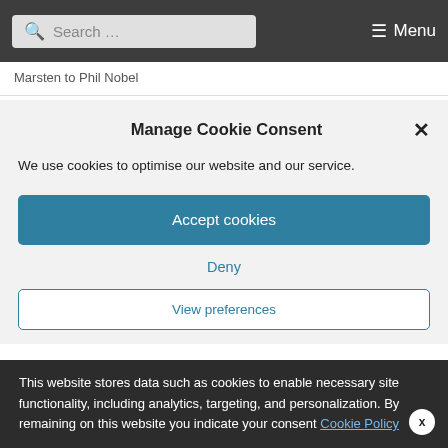Search ... Menu
Marsten to Phil Nobel
Manage Cookie Consent
We use cookies to optimise our website and our service.
Accept cookies
Deny
View preferences
This website stores data such as cookies to enable necessary site functionality, including analytics, targeting, and personalization. By remaining on this website you indicate your consent Cookie Policy
A-Z of Pseudonyms and the Writers Who Use Them: Jack Cory to Jack Dugan